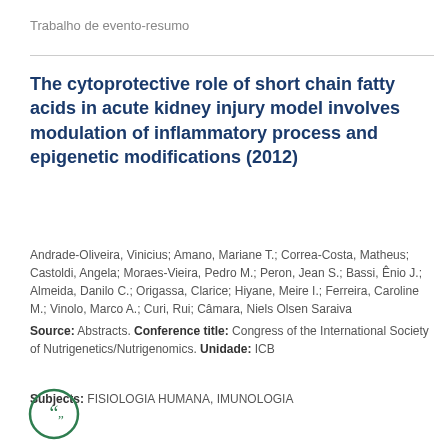Trabalho de evento-resumo
The cytoprotective role of short chain fatty acids in acute kidney injury model involves modulation of inflammatory process and epigenetic modifications (2012)
Andrade-Oliveira, Vinicius; Amano, Mariane T.; Correa-Costa, Matheus; Castoldi, Angela; Moraes-Vieira, Pedro M.; Peron, Jean S.; Bassi, Ênio J.; Almeida, Danilo C.; Origassa, Clarice; Hiyane, Meire I.; Ferreira, Caroline M.; Vinolo, Marco A.; Curi, Rui; Câmara, Niels Olsen Saraiva
Source: Abstracts. Conference title: Congress of the International Society of Nutrigenetics/Nutrigenomics. Unidade: ICB
Subjects: FISIOLOGIA HUMANA, IMUNOLOGIA
[Figure (illustration): Green circle icon with open quotation marks inside]